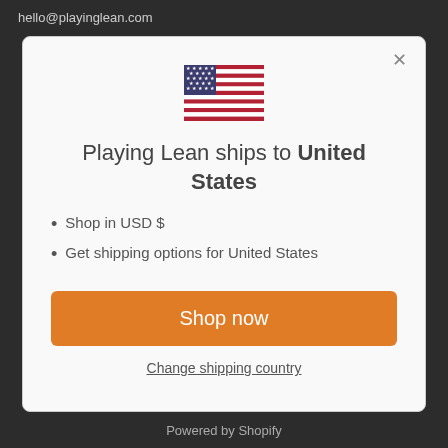hello@playinglean.com
[Figure (illustration): US flag icon]
Playing Lean ships to United States
Shop in USD $
Get shipping options for United States
Shop now
Change shipping country
Powered by Shopify